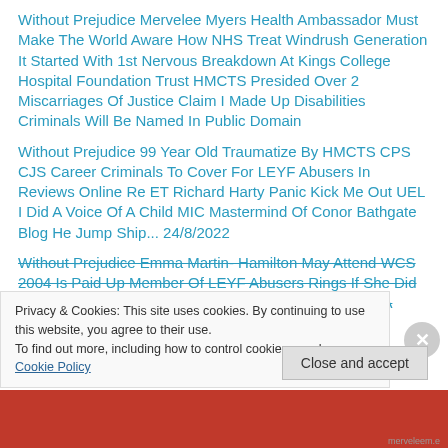Without Prejudice Mervelee Myers Health Ambassador Must Make The World Aware How NHS Treat Windrush Generation It Started With 1st Nervous Breakdown At Kings College Hospital Foundation Trust HMCTS Presided Over 2 Miscarriages Of Justice Claim I Made Up Disabilities Criminals Will Be Named In Public Domain
Without Prejudice 99 Year Old Traumatize By HMCTS CPS CJS Career Criminals To Cover For LEYF Abusers In Reviews Online Re ET Richard Harty Panic Kick Me Out UEL I Did A Voice Of A Child MIC Mastermind Of Conor Bathgate Blog He Jump Ship... 24/8/2022
Without Prejudice Emma Martin- Hamilton May Attend WCS 2004 Is Paid Up Member Of LEYF Abusers Rings If She Did Not Do Research Re South London Press On Balance A Happy Ending Judge Baron Sent My Claim
Privacy & Cookies: This site uses cookies. By continuing to use this website, you agree to their use. To find out more, including how to control cookies, see here: Cookie Policy
Close and accept